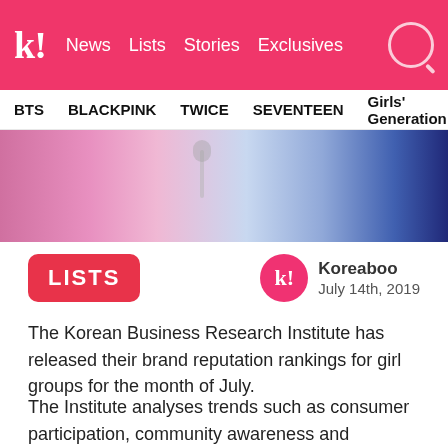k! News Lists Stories Exclusives
BTS BLACKPINK TWICE SEVENTEEN Girls' Generation
[Figure (photo): Cropped concert/performance photo showing performers, one with pink hair holding a microphone on the left, another in white on the right, with a blue background]
LISTS
Koreaboo
July 14th, 2019
The Korean Business Research Institute has released their brand reputation rankings for girl groups for the month of July.
The Institute analyses trends such as consumer participation, community awareness and coverage to determine the most popular girl groups in Korea.